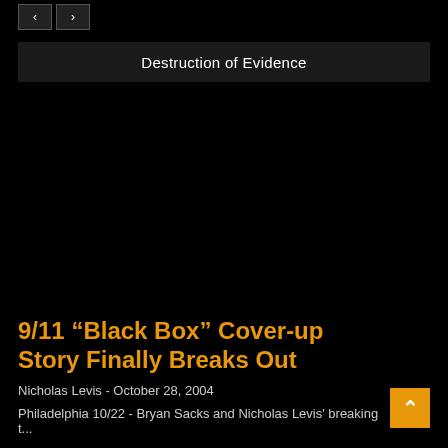< >
Destruction of Evidence
[Figure (other): Large black image area, likely a video thumbnail or image placeholder]
9/11 “Black Box” Cover-up Story Finally Breaks Out
Nicholas Levis - October 28, 2004
Philadelphia 10/22 - Bryan Sacks and Nicholas Levis' breaking t...